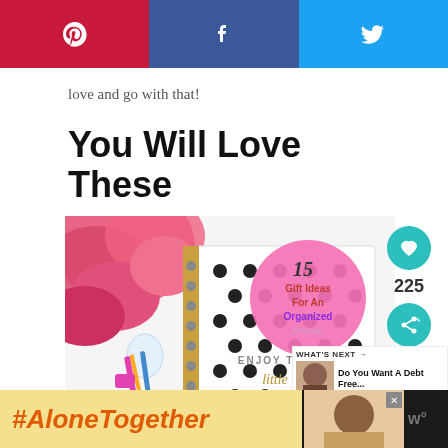[Figure (infographic): Social sharing bar with Pinterest (red), Facebook (dark blue), Twitter (light blue) buttons]
love and go with that!
You Will Love These
[Figure (photo): Photo of a polka-dot planner notebook with pink flowers and pens, overlaid with pink circle graphic reading '15 Gift Ideas For An Organized Person' and notebook text 'ENJOY THE little THINGS']
225
WHAT'S NEXT → Do You Want A Debt Free...
[Figure (infographic): Footer bar with #AloneTogether hashtag on yellow background and advertisement]